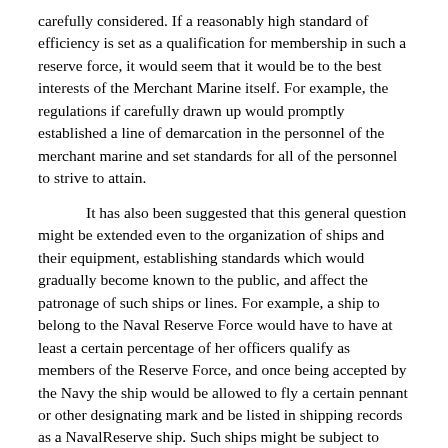carefully considered. If a reasonably high standard of efficiency is set as a qualification for membership in such a reserve force, it would seem that it would be to the best interests of the Merchant Marine itself. For example, the regulations if carefully drawn up would promptly established a line of demarcation in the personnel of the merchant marine and set standards for all of the personnel to strive to attain.
It has also been suggested that this general question might be extended even to the organization of ships and their equipment, establishing standards which would gradually become known to the public, and affect the patronage of such ships or lines. For example, a ship to belong to the Naval Reserve Force would have to have at least a certain percentage of her officers qualify as members of the Reserve Force, and once being accepted by the Navy the ship would be allowed to fly a certain pennant or other designating mark and be listed in shipping records as a NavalReserve ship. Such ships might be subject to periodic inspections by the Navy, the latter maintaining a force of inspectors who would spend their time at sea inspecting those ships under actual conditions. . . .
So far as if one be to to the lead would affect. . .